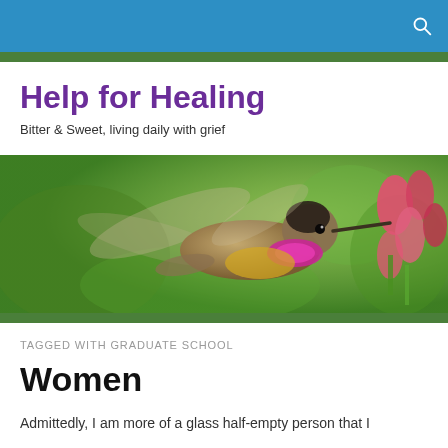Help for Healing — website header with blue and green bars and search icon
Help for Healing
Bitter & Sweet, living daily with grief
[Figure (photo): A hummingbird hovering near pink flowers against a green blurred background]
TAGGED WITH GRADUATE SCHOOL
Women
Admittedly, I am more of a glass half-empty person that I